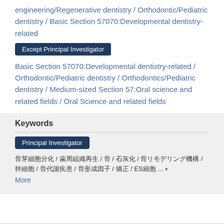engineering/Regenerative dentistry / Orthodontic/Pediatric dentistry / Basic Section 57070:Developmental dentistry-related
Except Principal Investigator
Basic Section 57070:Developmental dentistry-related / Orthodontic/Pediatric dentistry / Orthodontics/Pediatric dentistry / Medium-sized Section 57:Oral science and related fields / Oral Science and related fields
Keywords
Principal Investigator
骨芽細胞分化 / 歯周組織再生 / 骨 / 石灰化 / 骨リモデリング機構 / 幹細胞 / 骨代謝疾患 / 骨形成因子 / 矯正 / ES細胞 ... ▾
More